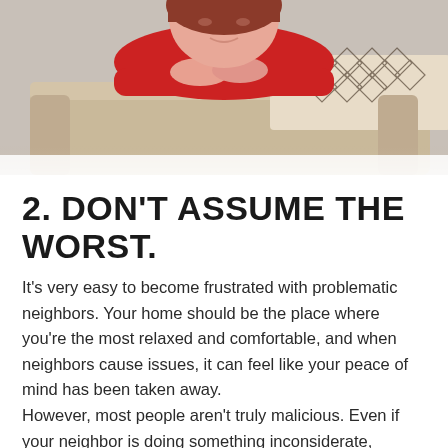[Figure (photo): A woman in a red sweater leaning over the back of a beige couch with a geometric patterned pillow, resting her chin on her crossed arms and smiling at the camera.]
2. DON'T ASSUME THE WORST.
It's very easy to become frustrated with problematic neighbors. Your home should be the place where you're the most relaxed and comfortable, and when neighbors cause issues, it can feel like your peace of mind has been taken away. However, most people aren't truly malicious. Even if your neighbor is doing something inconsiderate,